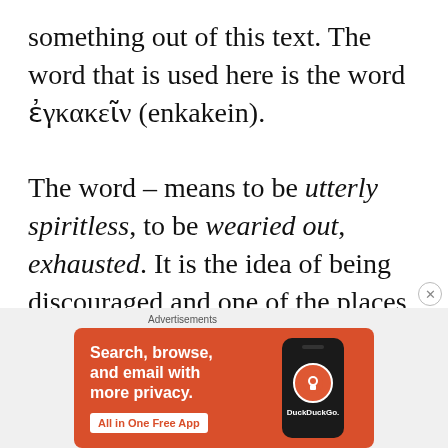something out of this text. The word that is used here is the word ἐγκακεῖν (enkakein).

The word – means to be utterly spiritless, to be wearied out, exhausted. It is the idea of being discouraged and one of the places that we feel discouragement is in our soul / our
[Figure (other): DuckDuckGo advertisement banner with orange background. Text reads: 'Search, browse, and email with more privacy. All in One Free App' with a smartphone graphic and DuckDuckGo logo/branding.]